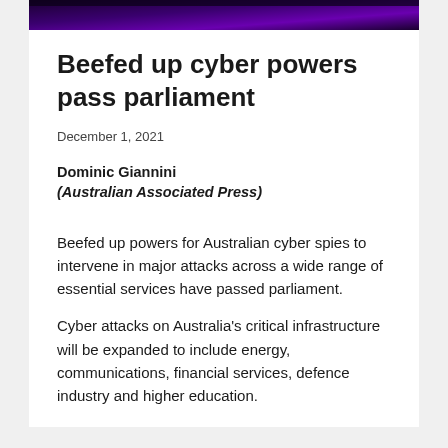[Figure (photo): Dark purple/black gradient banner image at the top of the page]
Beefed up cyber powers pass parliament
December 1, 2021
Dominic Giannini
(Australian Associated Press)
Beefed up powers for Australian cyber spies to intervene in major attacks across a wide range of essential services have passed parliament.
Cyber attacks on Australia's critical infrastructure will be expanded to include energy, communications, financial services, defence industry and higher education.